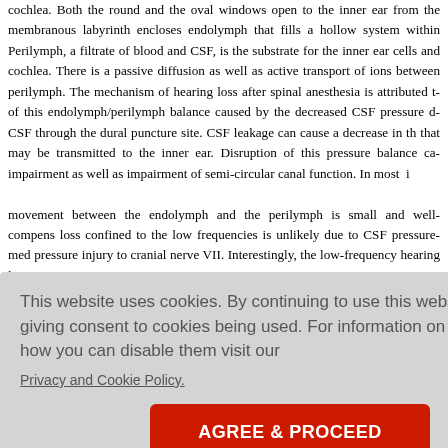cochlea. Both the round and the oval windows open to the inner ear from the membranous labyrinth encloses endolymph that fills a hollow system within Perilymph, a filtrate of blood and CSF, is the substrate for the inner ear cells and cochlea. There is a passive diffusion as well as active transport of ions between perilymph. The mechanism of hearing loss after spinal anesthesia is attributed to of this endolymph/perilymph balance caused by the decreased CSF pressure du CSF through the dural puncture site. CSF leakage can cause a decrease in the that may be transmitted to the inner ear. Disruption of this pressure balance can impairment as well as impairment of semi-circular canal function. In most i movement between the endolymph and the perilymph is small and well-compens loss confined to the low frequencies is unlikely due to CSF pressure-medi pressure injury to cranial nerve VII. Interestingly, the low-frequency hearing lo
This website uses cookies. By continuing to use this website you are giving consent to cookies being used. For information on cookies and how you can disable them visit our
Privacy and Cookie Policy.
AGREE & PROCEED
ow in the co s after a dura lymphatic pr hair cells on ollowing lum cantly wors t-gauge nee cel et al.[11] oss and fou who were given an epidural block had no hearing impairments, and there w